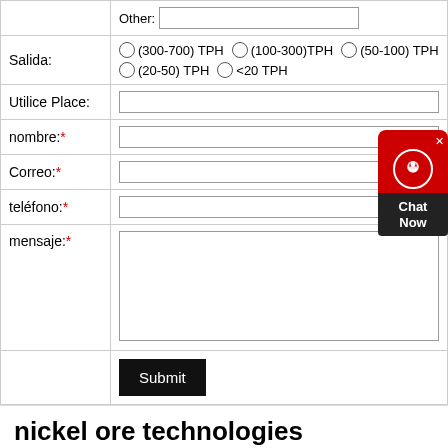| Other: | [text input] |
| Salida: | (300-700) TPH  (100-300)TPH  (50-100) TPH  (20-50) TPH  <20 TPH |
| Utilice Place: | [text input] |
| nombre:* | [text input] |
| Correo:* | [text input] |
| teléfono:* | [text input] |
| mensaje:* | [textarea] |
|  | Submit |
nickel ore technologies
[Figure (photo): Two thumbnail images at the bottom of the page, partially visible, showing outdoor/industrial scenes with blue sky tones.]